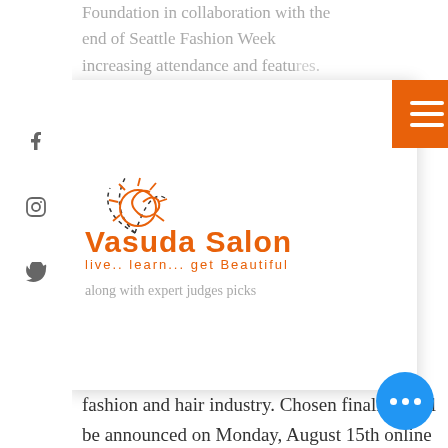[Figure (logo): Vasuda Salon logo with decorative sun/spiral graphic, orange text reading 'Vasuda Salon' and tagline 'live.. learn... get Beautiful']
Foundation in collaboration with the end of Seattle Fashion Week increasing attendance and features. Finalists will be chosen through recommendations and industry elites along with expert judges picks in the fashion and hair industry. Chosen finalists will be announced on Monday, August 15th online at www.seattlestylenight.com . All finalists will participate in a photoshoot that will be featured in the Fall 2017 Fashion Issue. The winners will be chosen by the expert judges and announced at the awards ceremony that will feature a fashion showcase of each category